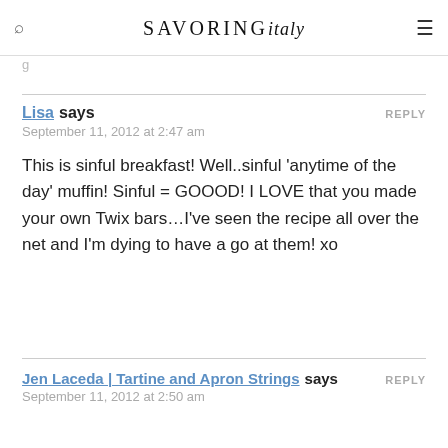SAVORING italy
g
Lisa says
September 11, 2012 at 2:47 am

This is sinful breakfast! Well..sinful 'anytime of the day' muffin! Sinful = GOOOD! I LOVE that you made your own Twix bars…I've seen the recipe all over the net and I'm dying to have a go at them! xo
Jen Laceda | Tartine and Apron Strings says
September 11, 2012 at 2:50 am